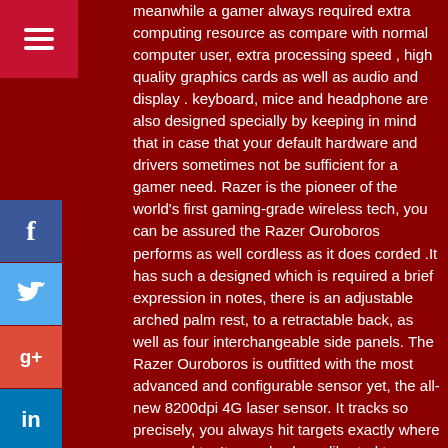[Figure (infographic): Red hamburger menu button in top-left sidebar, followed by Facebook, Twitter, Google+, LinkedIn, and Pinterest social media icon buttons stacked vertically on the left sidebar.]
meanwhile a gamer always required extra computing resource as compare with normal computer user, extra processing speed , high quality graphics cards as well as audio and display . keyboard, mice and headphone are also designed specially by keeping in mind that in case that your default hardware and drivers sometimes not be sufficient for a gamer need. Razer is the pioneer of the world's first gaming-grade wireless tech, you can be assured the Razer Ouroboros performs as well cordless as it does corded .It has such a designed which is required a brief expression in notes, there is an adjustable arched palm rest, to a retractable back, as well as four interchangeable side panels. The Razer Ouroboros is outfitted with the most advanced and configurable sensor yet, the all-new 8200dpi 4G laser sensor. It tracks so precisely, you always hit targets exactly where you need to. It can also be calibrated to your specific surface, and has adjustable cut-off to lift-off tracking, empowering you with more control than ever. your command is executed first even if you and your opponent react at exactly the same time. When the battery depletes in the Razer Ouroboros, just plug in the USB cable so you can keep gaming while it recharges, for zero downtime